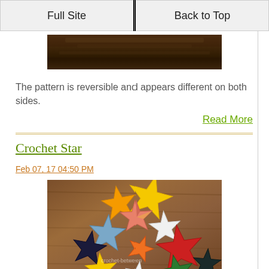Full Site | Back to Top
[Figure (photo): Partial photo of a crochet item on a dark wooden surface, partially cut off at top of page]
The pattern is reversible and appears different on both sides.
Read More
Crochet Star
Feb 07, 17 04:50 PM
[Figure (photo): Collection of colorful crochet stars in various colors including yellow, blue, red, white, green, orange, and black, arranged on a wooden surface]